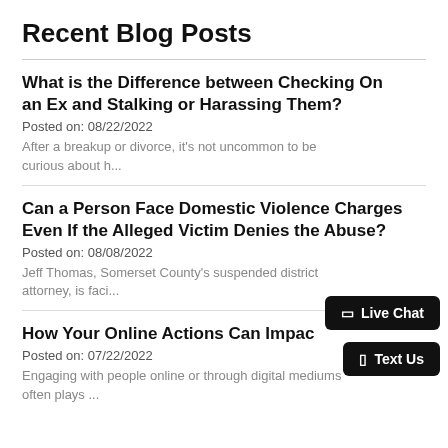Recent Blog Posts
What is the Difference between Checking On an Ex and Stalking or Harassing Them?
Posted on: 08/22/2022
After a breakup or divorce, it’s not uncommon to be curious about h...
Can a Person Face Domestic Violence Charges Even If the Alleged Victim Denies the Abuse?
Posted on: 08/08/2022
Jeff Thomas, Somerset County’s suspended district attorney, is faci...
How Your Online Actions Can Impac
Posted on: 07/22/2022
Engaging with people online or through digital mediums often plays ...